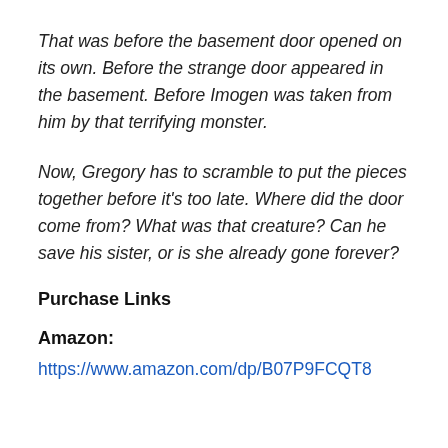That was before the basement door opened on its own. Before the strange door appeared in the basement. Before Imogen was taken from him by that terrifying monster.
Now, Gregory has to scramble to put the pieces together before it's too late. Where did the door come from? What was that creature? Can he save his sister, or is she already gone forever?
Purchase Links
Amazon:
https://www.amazon.com/dp/B07P9FCQT8